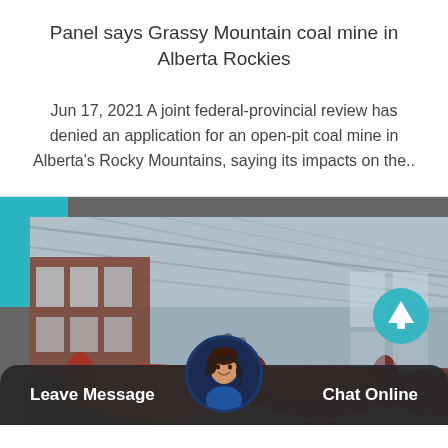Panel says Grassy Mountain coal mine in Alberta Rockies
Jun 17, 2021 A joint federal-provincial review has denied an application for an open-pit coal mine in Alberta's Rocky Mountains, saying its impacts on the..
[Figure (photo): Factory/industrial interior with large red cylindrical equipment on a conveyor, inside a large warehouse-style building. A teal rectangle UI element and an up-arrow navigation button are overlaid. A chat bar with Leave Message, an avatar of a customer service agent, and Chat Online is at the bottom.]